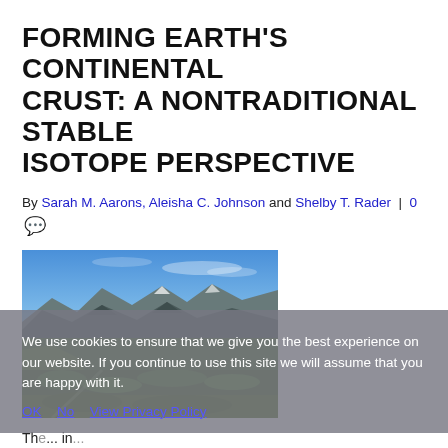FORMING EARTH'S CONTINENTAL CRUST: A NONTRADITIONAL STABLE ISOTOPE PERSPECTIVE
By Sarah M. Aarons, Aleisha C. Johnson and Shelby T. Rader | 0 💬
[Figure (photo): Landscape photograph of a mountain valley with green vegetation in the foreground, mountains with rocky peaks and some snow in the background, and a blue sky with light clouds above.]
The... in... surface and may be the l...ng-term habitability. However, continental crust formation is difficult to observe directly and is even more difficult to trace through time. Nontraditional
We use cookies to ensure that we give you the best experience on our website. If you continue to use this site we will assume that you are happy with it.
OK  No  View Privacy Policy